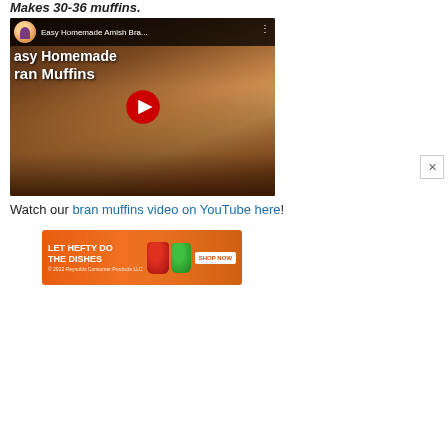Makes 30-36 muffins.
[Figure (screenshot): YouTube video thumbnail for 'Easy Homemade Amish Bran Muffins' showing bran muffins on a cooling rack with a YouTube play button overlay]
Watch our bran muffins video on YouTube here!
[Figure (other): Advertisement for Hefty Dishes product: 'LET HEFTY DO THE DISHES' with Hefty and EcoSave product images and 'SHOP NOW' button. © 2022 Reynolds Consumer Products LLC]